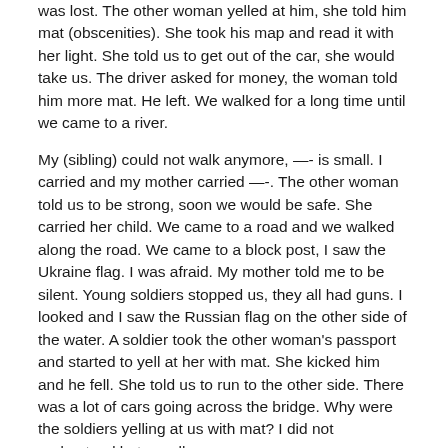was lost. The other woman yelled at him, she told him mat (obscenities). She took his map and read it with her light. She told us to get out of the car, she would take us. The driver asked for money, the woman told him more mat. He left. We walked for a long time until we came to a river.
My (sibling) could not walk anymore, —- is small. I carried and my mother carried —-. The other woman told us to be strong, soon we would be safe. She carried her child. We came to a road and we walked along the road. We came to a block post, I saw the Ukraine flag. I was afraid. My mother told me to be silent. Young soldiers stopped us, they all had guns. I looked and I saw the Russian flag on the other side of the water. A soldier took the other woman's passport and started to yell at her with mat. She kicked him and he fell. She told us to run to the other side. There was a lot of cars going across the bridge. Why were the soldiers yelling at us with mat? I did not understand but we all ran.
The soldiers on the other side shouted to us to come, they pushed us through their line, yelling at us to hurry. I was not afraid of these soldiers.
Women came to us. The women took us to a tent and gave us